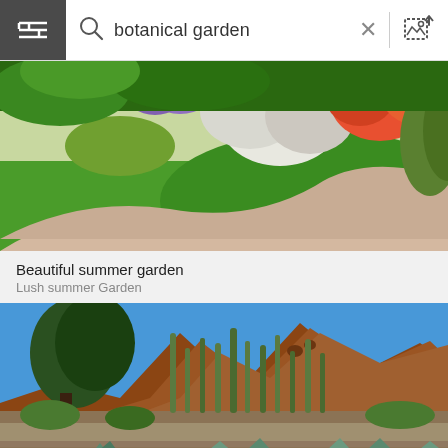[Figure (screenshot): Search bar with hamburger menu icon on dark background, magnifying glass icon, text input showing 'botanical garden', X close button, vertical divider, and image search icon]
[Figure (photo): Beautiful lush summer garden with green grass lawns, a winding pinkish stone path, and colorful flowering shrubs and plants]
Beautiful summer garden
Lush summer Garden
[Figure (photo): Desert botanical garden featuring tall cacti, agave plants, colorful wildflowers, rocky terrain with red rock mountains in the background under a blue sky]